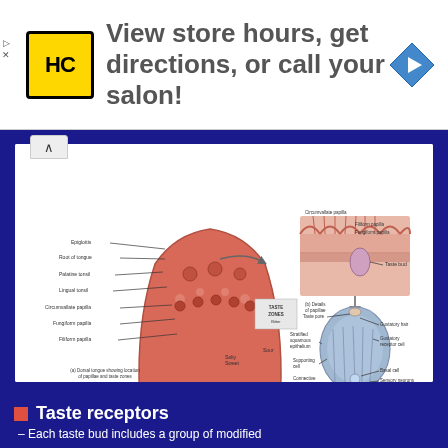[Figure (illustration): Advertisement banner with HC logo (yellow), text 'View store hours, get directions, or call your salon!', and a blue navigation arrow icon]
[Figure (engineering-diagram): Anatomical diagram of taste system showing: (a) Dorsal tongue showing location of papillae and taste zones with labels: Epiglottis, Root of tongue, Palatine tonsil, Lingual tonsil, Circumvallate papilla, Fungiform papilla, Filiform papilla, TASTE ZONES: Bitter, Sour, Salty/Sweet; (b) Details of papillae showing Circumvallate papilla, Filiform papilla, Fungiform papilla, Taste bud; (c) Structure of a taste bud showing Taste pore, Gustatory hair, Gustatory receptor cell, Basal cell, Sensory neurons, Stratified squamous epithelium, Supporting cell, Connective tissue. Copyright John Wiley & Sons, Inc.]
Taste receptors
– Each taste bud includes a group of modified